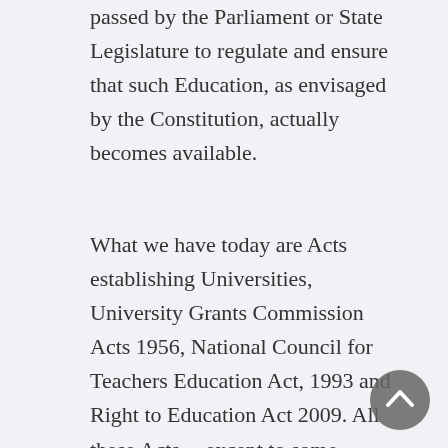passed by the Parliament or State Legislature to regulate and ensure that such Education, as envisaged by the Constitution, actually becomes available.
What we have today are Acts establishing Universities, University Grants Commission Acts 1956, National Council for Teachers Education Act, 1993 and Right to Education Act 2009. All these Acts -- except to some, limited extent the RTE Act, 2009 -- do not provide for the